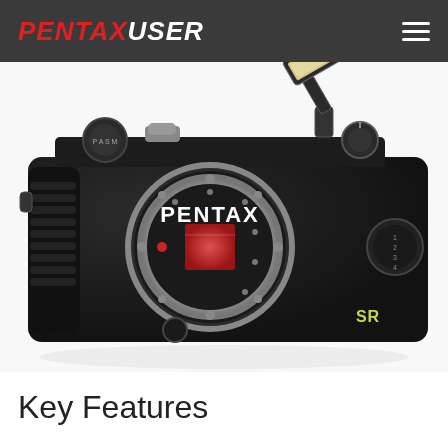PENTAXUSER
[Figure (photo): Pentax Q compact camera body shown from the front without lens, revealing the red-tinted sensor with silver lens mount ring. The built-in flash is extended open upward on the right side. The black textured body shows 'PENTAX' branding and 'SR' stabilization logo. Various dials and controls are visible on the top and right side.]
Key Features